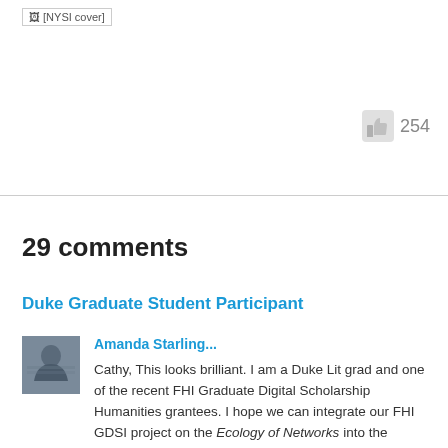[Figure (photo): NYSI cover image placeholder with broken image icon and alt text '[NYSI cover]']
[Figure (other): Thumbs up like icon (gray) with count 254]
29 comments
Duke Graduate Student Participant
[Figure (photo): Avatar photo of Amanda Starling, showing a person in an auditorium setting]
Amanda Starling...
Cathy, This looks brilliant. I am a Duke Lit grad and one of the recent FHI Graduate Digital Scholarship Humanities grantees. I hope we can integrate our FHI GDSI project on the Ecology of Networks into the